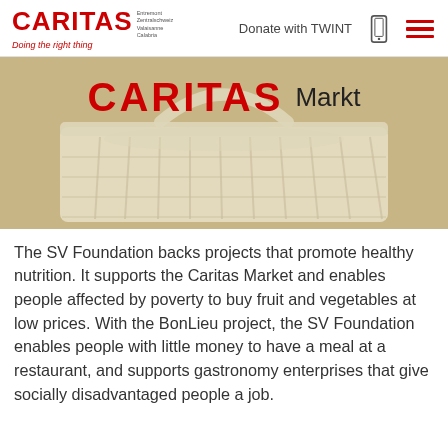CARITAS Doing the right thing | Donate with TWINT | menu
[Figure (photo): Photo of a white shopping basket with CARITAS Markt branding text overlaid in red and black letters on a beige/tan background]
The SV Foundation backs projects that promote healthy nutrition. It supports the Caritas Market and enables people affected by poverty to buy fruit and vegetables at low prices. With the BonLieu project, the SV Foundation enables people with little money to have a meal at a restaurant, and supports gastronomy enterprises that give socially disadvantaged people a job.